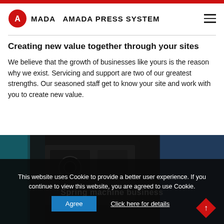AMADA PRESS SYSTEM
Creating new value together through your sites
We believe that the growth of businesses like yours is the reason why we exist. Servicing and support are two of our greatest strengths. Our seasoned staff get to know your site and work with you to create new value.
[Figure (photo): Industrial machinery / press machine being operated by two technicians in a workshop setting. Caption reads 'Spring machine business'.]
Spring machine business
This website uses Cookie to provide a better user experience. If you continue to view this website, you are agreed to use Cookie.